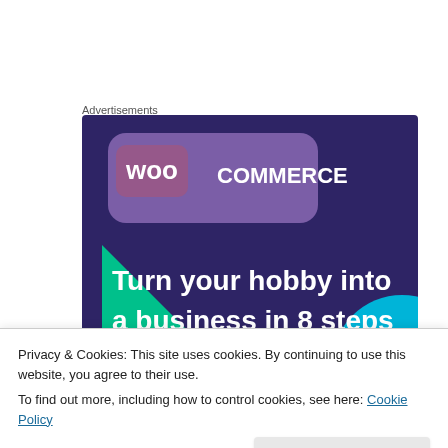Advertisements
[Figure (illustration): WooCommerce advertisement banner on a dark navy/purple background. Features WooCommerce logo at the top (white 'woo' in speech bubble + 'COMMERCE' text), a teal/green triangle shape on the left and cyan arc on the right, with bold white text reading 'Turn your hobby into a business in 8 steps'.]
Privacy & Cookies: This site uses cookies. By continuing to use this website, you agree to their use.
To find out more, including how to control cookies, see here: Cookie Policy
Close and accept
Barry Fry. 😀 Loved him when he was at Barnet